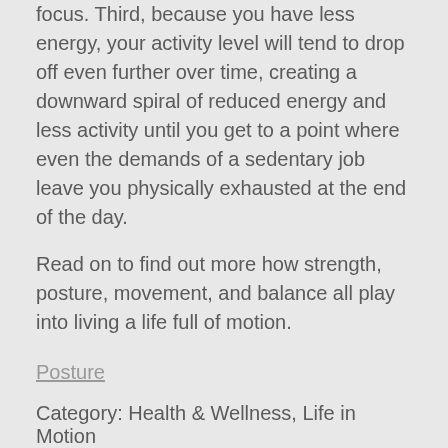focus. Third, because you have less energy, your activity level will tend to drop off even further over time, creating a downward spiral of reduced energy and less activity until you get to a point where even the demands of a sedentary job leave you physically exhausted at the end of the day.
Read on to find out more how strength, posture, movement, and balance all play into living a life full of motion.
Posture
Category: Health & Wellness, Life in Motion
[Figure (illustration): A bonsai tree illustration inside a rounded white/light rectangle]